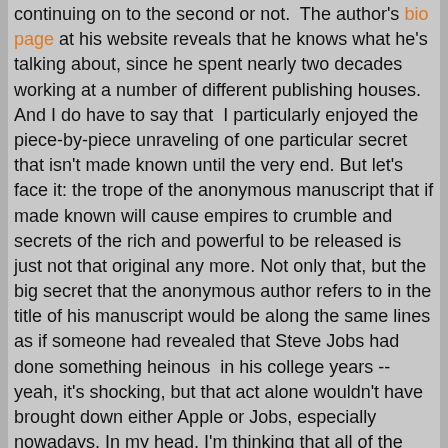continuing on to the second or not.  The author's bio page at his website reveals that he knows what he's talking about, since he spent nearly two decades working at a number of different publishing houses. And I do have to say that  I particularly enjoyed the piece-by-piece unraveling of one particular secret that isn't made known until the very end. But let's face it: the trope of the anonymous manuscript that if made known will cause empires to crumble and secrets of the rich and powerful to be released is just not that original any more. Not only that, but the big secret that the anonymous author refers to in the title of his manuscript would be along the same lines as if someone had revealed that Steve Jobs had done something heinous  in his college years -- yeah, it's shocking, but that act alone wouldn't have brought down either Apple or Jobs, especially nowadays. In my head, I'm thinking that all of the other stuff that Wolfe was up to would have been far worse and better to focus on as the meat of the anonymous manuscript.  Bottom line here: while there is some suspense that kept me reading this novel, I've read better.
I'm looking at reader criticism on another screen right now,